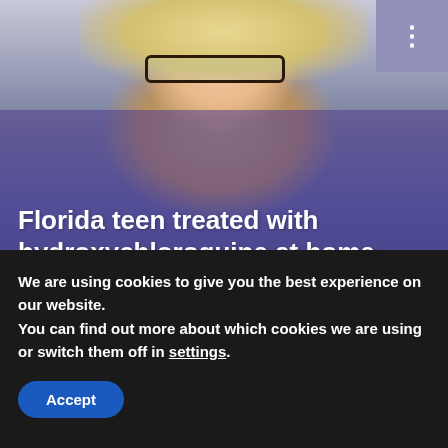[Figure (photo): A woman with blonde hair and glasses wearing a blue-gray shirt, sitting in front of a light purple background. Lower portion has a purple translucent overlay.]
Florida teen treated with hydroxychloroquine at home before dying of COVID-19
Written by
Posted on:
We are using cookies to give you the best experience on our website.
You can find out more about which cookies we are using or switch them off in settings.
Accept